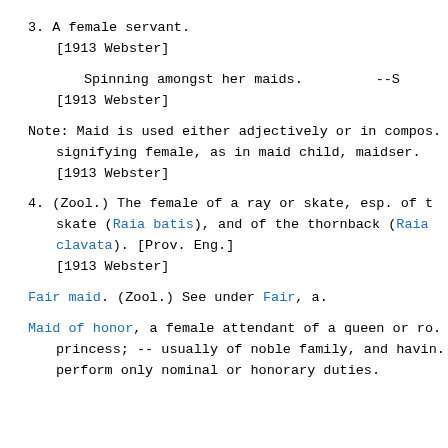3. A female servant.
   [1913 Webster]
Spinning amongst her maids.          --S
[1913 Webster]
Note: Maid is used either adjectively or in compos. signifying female, as in maid child, maidser. [1913 Webster]
4. (Zool.) The female of a ray or skate, esp. of the skate (Raia batis), and of the thornback (Raia clavata). [Prov. Eng.]
[1913 Webster]
Fair maid. (Zool.) See under Fair, a.
Maid of honor, a female attendant of a queen or ro. princess; -- usually of noble family, and havin. perform only nominal or honorary duties.